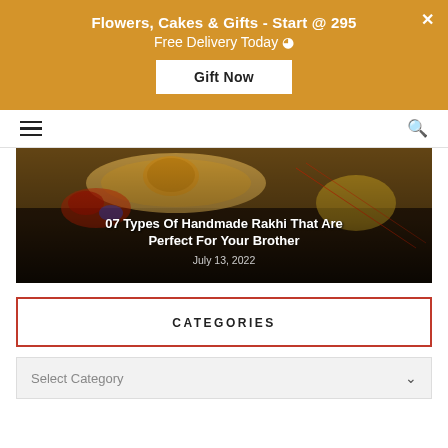[Figure (screenshot): Golden/amber banner advertisement for flowers, cakes and gifts delivery with a 'Gift Now' button and close X button]
Flowers, Cakes & Gifts - Start @ 295
Free Delivery Today
[Figure (screenshot): Website navigation bar with hamburger menu icon on left and search icon on right]
[Figure (photo): Photo of Rakhi items on a plate with decorative elements - article thumbnail for '07 Types Of Handmade Rakhi That Are Perfect For Your Brother', dated July 13, 2022]
07 Types Of Handmade Rakhi That Are Perfect For Your Brother
July 13, 2022
CATEGORIES
Select Category